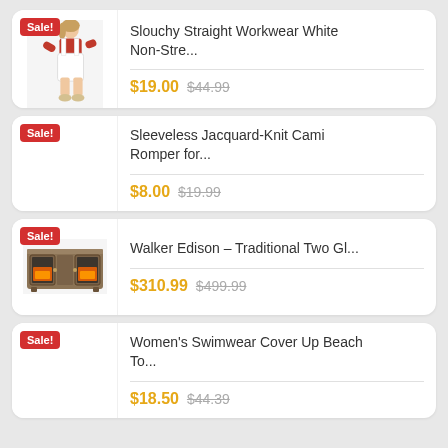[Figure (other): Product card: Slouchy Straight Workwear White Non-Stre... Sale badge, fashion model image, sale price $19.00, original price $44.99]
[Figure (other): Product card: Sleeveless Jacquard-Knit Cami Romper for... Sale badge, no product image shown, sale price $8.00, original price $19.99]
[Figure (other): Product card: Walker Edison – Traditional Two Gl... Sale badge, fireplace TV stand image, sale price $310.99, original price $499.99]
[Figure (other): Product card: Women's Swimwear Cover Up Beach To... Sale badge, no product image shown, sale price $18.50, original price $44.39]